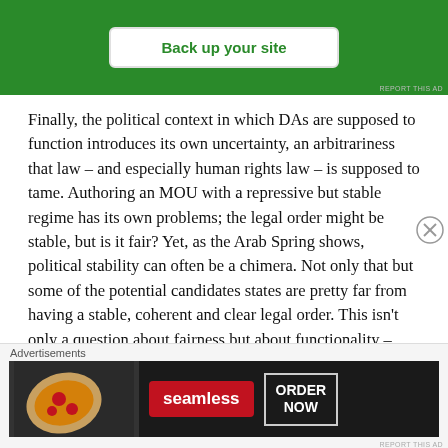[Figure (other): Green advertisement banner with white 'Back up your site' button and 'REPORT THIS AD' text in bottom right]
Finally, the political context in which DAs are supposed to function introduces its own uncertainty, an arbitrariness that law – and especially human rights law – is supposed to tame. Authoring an MOU with a repressive but stable regime has its own problems; the legal order might be stable, but is it fair? Yet, as the Arab Spring shows, political stability can often be a chimera. Not only that but some of the potential candidates states are pretty far from having a stable, coherent and clear legal order. This isn't only a question about fairness but about functionality –
[Figure (other): Advertisement banner for Seamless food delivery with pizza image, red Seamless logo, and 'ORDER NOW' button]